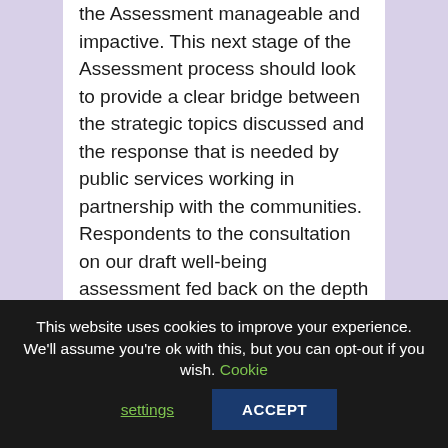the Assessment manageable and impactive. This next stage of the Assessment process should look to provide a clear bridge between the strategic topics discussed and the response that is needed by public services working in partnership with the communities.

Respondents to the consultation on our draft well-being assessment fed back on the depth and breadth
This website uses cookies to improve your experience. We'll assume you're ok with this, but you can opt-out if you wish. Cookie settings ACCEPT